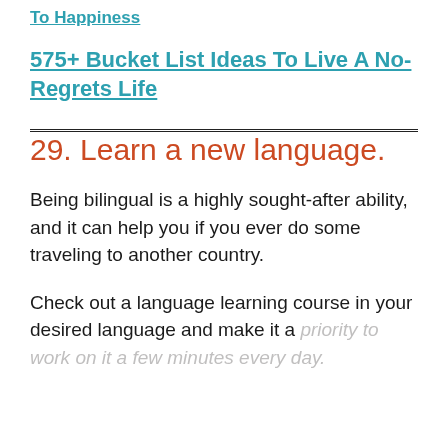To Happiness
575+ Bucket List Ideas To Live A No-Regrets Life
29. Learn a new language.
Being bilingual is a highly sought-after ability, and it can help you if you ever do some traveling to another country.
Check out a language learning course in your desired language and make it a priority to work on it a few minutes every day.